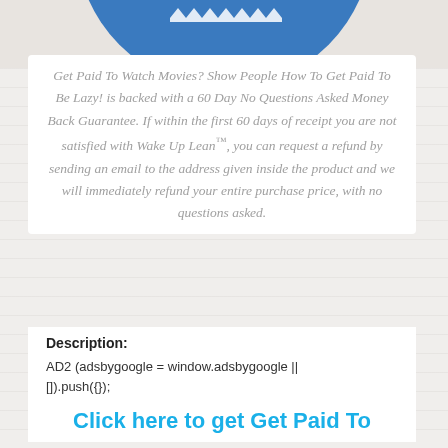[Figure (illustration): Top portion of a blue circular badge/seal with white gear or star-burst pattern, partially cropped at the top of the page]
Get Paid To Watch Movies? Show People How To Get Paid To Be Lazy! is backed with a 60 Day No Questions Asked Money Back Guarantee. If within the first 60 days of receipt you are not satisfied with Wake Up Lean™, you can request a refund by sending an email to the address given inside the product and we will immediately refund your entire purchase price, with no questions asked.
Description:
AD2 (adsbygoogle = window.adsbygoogle || []).push({});
Click here to get Get Paid To